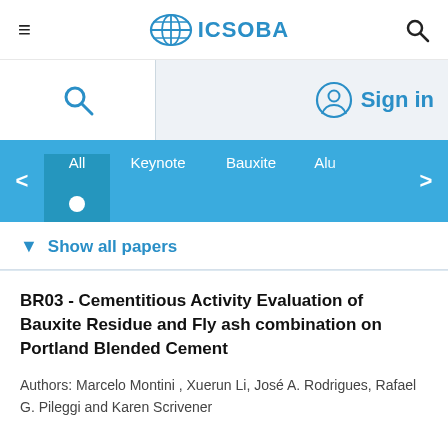≡  ICSOBA  🔍
🔍   Sign in
All  Keynote  Bauxite  Alu
▼  Show all papers
BR03 - Cementitious Activity Evaluation of Bauxite Residue and Fly ash combination on Portland Blended Cement
Authors: Marcelo Montini , Xuerun Li, José A. Rodrigues, Rafael G. Pileggi and Karen Scrivener